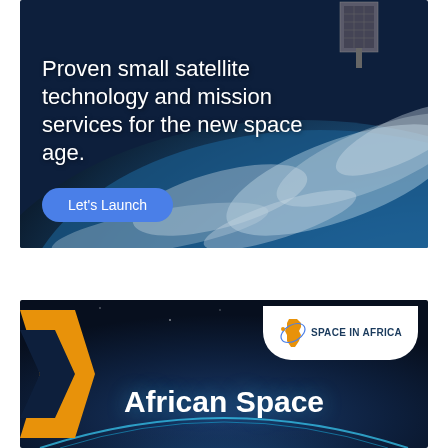[Figure (photo): Advertisement banner showing a small satellite above Earth from orbit with ocean and clouds visible. Blue background of Earth from space.]
Proven small satellite technology and mission services for the new space age.
Let's Launch
[Figure (illustration): Advertisement banner for Space in Africa with dark navy background, orange chevron on left, Space in Africa logo with Africa continent icon on top right, and large white text reading 'African Space' at bottom.]
SPACE IN AFRICA
African Space